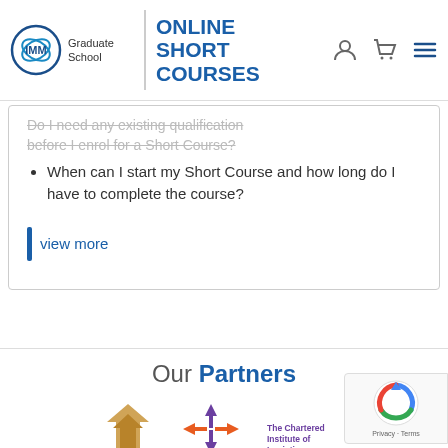[Figure (logo): IMM Graduate School logo with circular emblem and text]
ONLINE SHORT COURSES
Do I need any existing qualification before I enrol for a Short Course?
When can I start my Short Course and how long do I have to complete the course?
view more
Our Partners
[Figure (logo): Partner logos: gold chevron logo, The Chartered Institute of Logistics logo with arrows]
[Figure (logo): reCAPTCHA privacy badge]